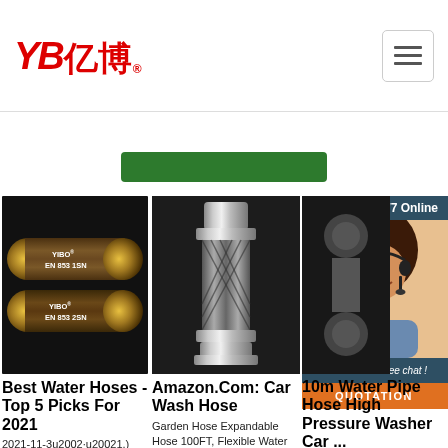[Figure (logo): YB亿博 logo in red italic bold text with registered trademark symbol]
[Figure (illustration): Hamburger menu button (three horizontal lines) in a rounded rectangle]
[Figure (illustration): Green button bar placeholder]
[Figure (photo): Two black rubber hydraulic hoses labeled YIBO EN 853 1SN and YIBO EN 853 2SN on black background]
Best Water Hoses - Top 5 Picks For 2021
2021-11-3u2002·u20021.) Camco 22853 Premium Water Hose. Camco is
[Figure (photo): Metal hydraulic hose connector fitting with braided stainless steel jacket on dark background]
Amazon.Com: Car Wash Hose
Garden Hose Expandable Hose 100FT, Flexible Water Hose with Spray Nozzle, Car
[Figure (photo): 24/7 Online customer service chat widget with woman wearing headset, dark blue header, free chat offer, and orange QUOTATION button]
10m Water Pipe Hose High Pressure Washer Car ...
Find many great new & used options and get the best